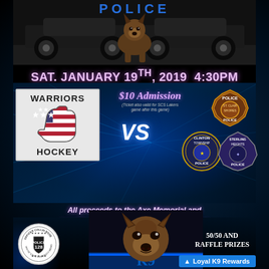[Figure (photo): Top photo showing a German Shepherd K9 police dog sitting in front of a police vehicle at night]
SAT. JANUARY 19TH, 2019  4:30PM
[Figure (infographic): Hockey game flyer showing Warriors Hockey vs Police departments (St. Clair Shores, Clinton Township, Sterling Heights) with $10 admission, police badges, VS graphic, and team logo]
$10 Admission
(Ticket also valid for SCS Lakers game after this game)
All proceeds to the Axe Memorial and providing safety equipment to K9 Officers
[Figure (photo): Close-up photo of a German Shepherd K9 police dog in front of a police vehicle with blue lighting]
[Figure (logo): Officer Collin Rose Memorial Foundation circular badge logo]
50/50 AND
RAFFLE PRIZES
Loyal K9 Rewards